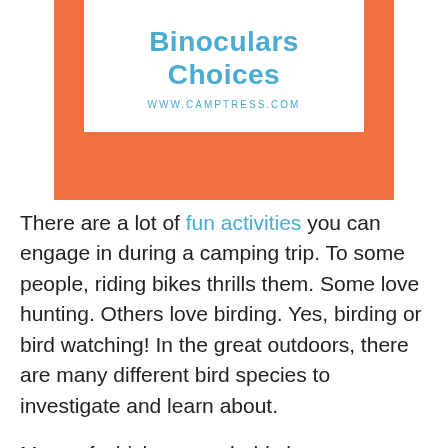[Figure (other): Orange banner with white box containing title 'Binoculars Choices' in blue and website URL www.camptress.com]
There are a lot of fun activities you can engage in during a camping trip. To some people, riding bikes thrills them. Some love hunting. Others love birding. Yes, birding or bird watching! In the great outdoors, there are many different bird species to investigate and learn about.
Many of which you probably have never seen before. Therefore, when you are on a